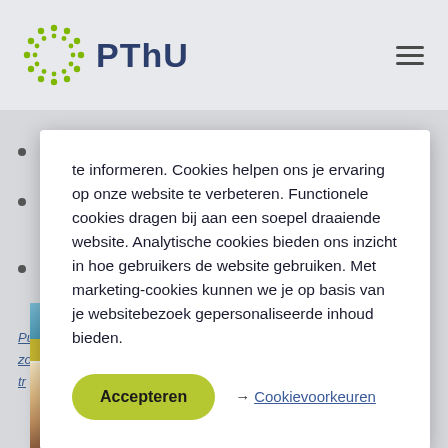[Figure (logo): PThU logo with dotted circle and text 'PThU']
te informeren. Cookies helpen ons je ervaring op onze website te verbeteren. Functionele cookies dragen bij aan een soepel draaiende website. Analytische cookies bieden ons inzicht in hoe gebruikers de website gebruiken. Met marketing-cookies kunnen we je op basis van je websitebezoek gepersonaliseerde inhoud bieden.
Accepteren
→ Cookievoorkeuren